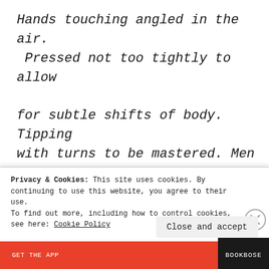Hands touching angled in the air.  Pressed not too tightly to allow for subtle shifts of body. Tipping with turns to be mastered. Men leading women. women with women. young girl leading younger girl. Women leading men in the men's
Privacy & Cookies: This site uses cookies. By continuing to use this website, you agree to their use.
To find out more, including how to control cookies, see here: Cookie Policy
Close and accept